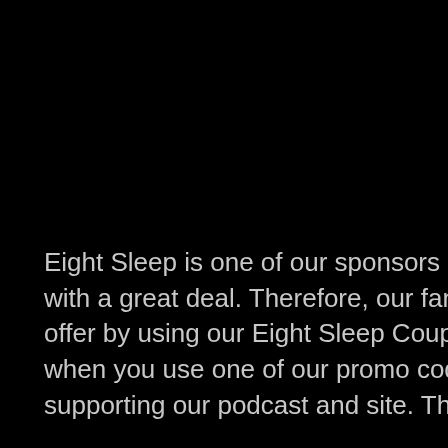Eight Sleep is one of our sponsors and has provided us with a great deal. Therefore, our fans can get this great offer by using our Eight Sleep Coupon Code. In addition, when you use one of our promo codes you are directly supporting our podcast and site. Thanks for your support.